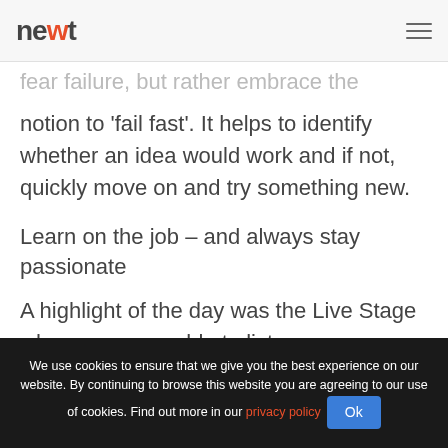newt [logo] [hamburger menu]
fear failure, but rather embrace the notion to 'fail fast'. It helps to identify whether an idea would work and if not, quickly move on and try something new.
Learn on the job – and always stay passionate
A highlight of the day was the Live Stage where we were able to listen
We use cookies to ensure that we give you the best experience on our website. By continuing to browse this website you are agreeing to our use of cookies. Find out more in our privacy policy  Ok